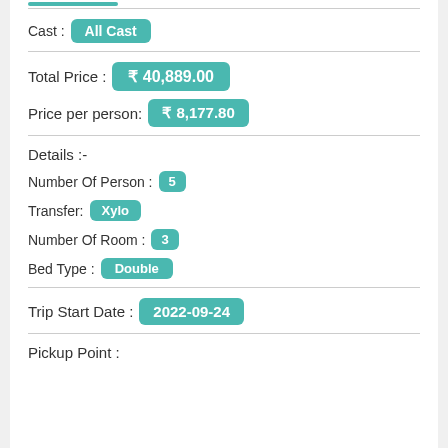Cast : All Cast
Total Price : ₹ 40,889.00
Price per person: ₹ 8,177.80
Details :-
Number Of Person : 5
Transfer: Xylo
Number Of Room : 3
Bed Type : Double
Trip Start Date : 2022-09-24
Pickup Point :